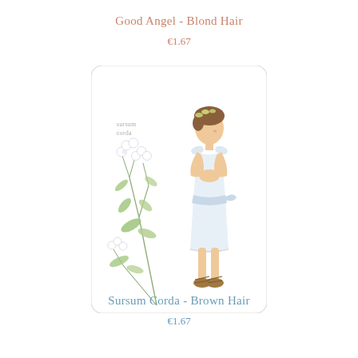Good Angel - Blond Hair
€1.67
[Figure (illustration): Product card showing a young girl in a white dress with a flower crown, hands clasped, standing next to delicate white flowers. The card has rounded corners and shows 'sursum corda' text in the upper left.]
Sursum Corda - Brown Hair
€1.67